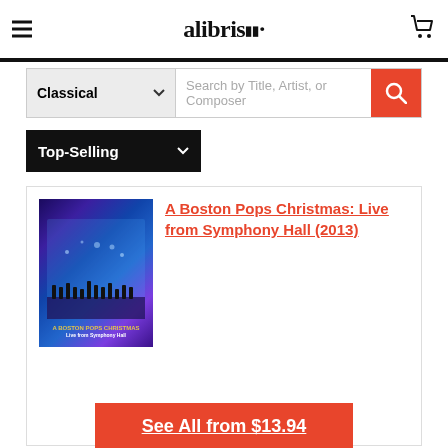alibris
Classical  Search by Title, Artist, or Composer
Top-Selling
A Boston Pops Christmas: Live from Symphony Hall (2013)
[Figure (photo): Album cover for A Boston Pops Christmas: Live from Symphony Hall (2013) showing an orchestra performing on a blue-lit stage]
See All from $13.94
Merry Christmas from Vienna (2015)
[Figure (photo): Album cover for Merry Christmas from Vienna (2015) showing Vienna Boys Choir with cityscape]
performed by Aida Garifullina (vocals), Rolando Villazón (vocals)